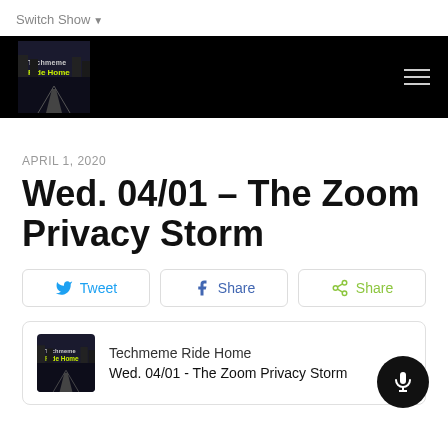Switch Show
[Figure (logo): Techmeme Ride Home podcast logo and navigation bar with hamburger menu on black background]
APRIL 1, 2020
Wed. 04/01 – The Zoom Privacy Storm
Tweet | Share | Share
Techmeme Ride Home
Wed. 04/01 - The Zoom Privacy Storm